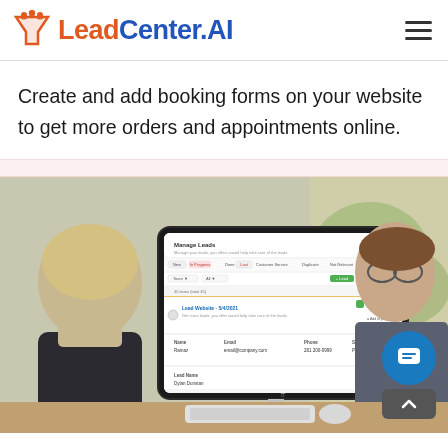LeadCenter.AI
Create and add booking forms on your website to get more orders and appointments online.
[Figure (screenshot): Screenshot of the LeadCenter.AI 'Manage Leads' dashboard interface displayed on an iMac monitor, with two people (a woman and a man with glasses) visible in the background working at a desk. The screen shows a lead management UI with filters, a lead list, and detail fields.]